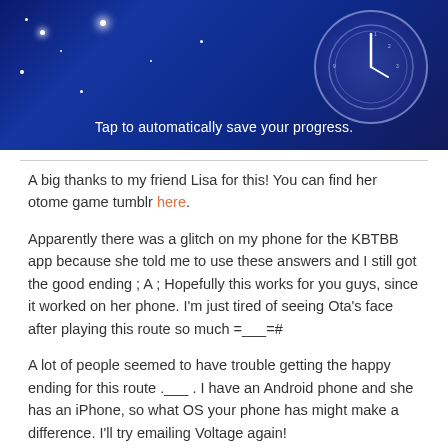[Figure (screenshot): A blue space/astrology themed app screenshot with stars and a clock/wheel graphic. Text overlay reads 'Tap to automatically save your progress.']
A big thanks to my friend Lisa for this! You can find her otome game tumblr here.
Apparently there was a glitch on my phone for the KBTBB app because she told me to use these answers and I still got the good ending ; A ; Hopefully this works for you guys, since it worked on her phone. I'm just tired of seeing Ota's face after playing this route so much =___=#
A lot of people seemed to have trouble getting the happy ending for this route .___ . I have an Android phone and she has an iPhone, so what OS your phone has might make a difference. I'll try emailing Voltage again!
UPDATE